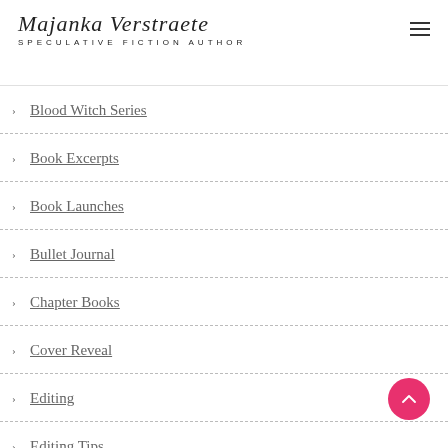Majanka Verstraete — SPECULATIVE FICTION AUTHOR
Blood Witch Series
Book Excerpts
Book Launches
Bullet Journal
Chapter Books
Cover Reveal
Editing
Editing Tips